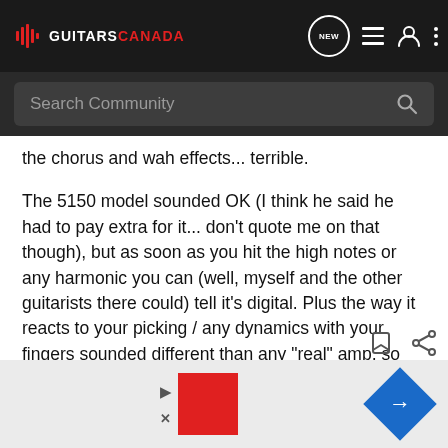GUITARS CANADA - navigation bar with NEW, list, user, and menu icons
Search Community
the chorus and wah effects... terrible.
The 5150 model sounded OK (I think he said he had to pay extra for it... don't quote me on that though), but as soon as you hit the high notes or any harmonic you can (well, myself and the other guitarists there could) tell it's digital. Plus the way it reacts to your picking / any dynamics with your fingers sounded different than any "real" amp, so that kind of gave it away.
Cool for home recording if you can't crank your amp up though, I'll give it that.
[Figure (screenshot): Advertisement banner at bottom with red square, play and close buttons, and blue diamond road sign]